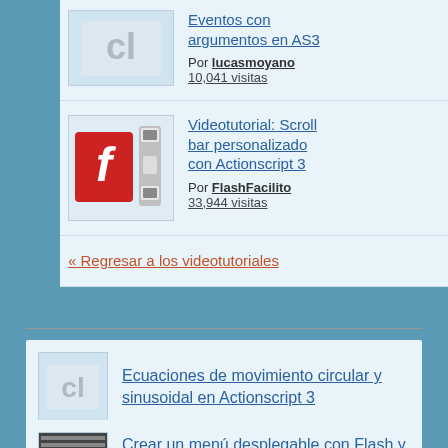[Figure (screenshot): Thumbnail icon with 'cl' letters for Eventos con argumentos en AS3]
Eventos con argumentos en AS3
Por lucasmoyano
10,041 visitas
[Figure (screenshot): Thumbnail showing Adobe Flash logo and a scrollbar component for Videotutorial: Scroll bar personalizado con Actionscript 3]
Videotutorial: Scroll bar personalizado con Actionscript 3
Por FlashFacilito
33,944 visitas
« Regresar a los videotutoriales
[Figure (screenshot): Small 'cl' icon thumbnail for Ecuaciones de movimiento circular y sinusoidal en Actionscript 3]
Ecuaciones de movimiento circular y sinusoidal en Actionscript 3
[Figure (screenshot): Small menu icon thumbnail for Crear un menú desplegable con Flash y]
Crear un menú desplegable con Flash y